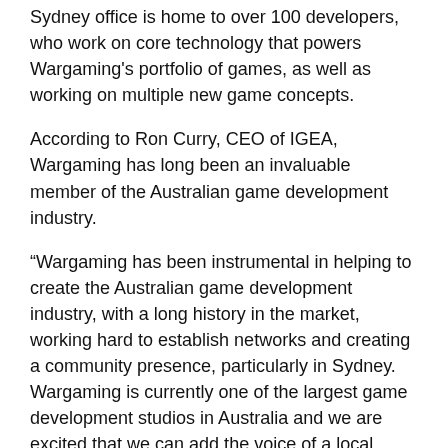Sydney office is home to over 100 developers, who work on core technology that powers Wargaming's portfolio of games, as well as working on multiple new game concepts.
According to Ron Curry, CEO of IGEA, Wargaming has long been an invaluable member of the Australian game development industry.
“Wargaming has been instrumental in helping to create the Australian game development industry, with a long history in the market, working hard to establish networks and creating a community presence, particularly in Sydney. Wargaming is currently one of the largest game development studios in Australia and we are excited that we can add the voice of a local company of that experience, technical capacity and size to the association.
Wargaming are an excellent example of the